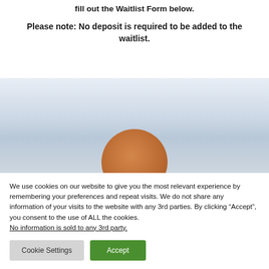fill out the Waitlist Form below.
Please note: No deposit is required to be added to the waitlist.
[Figure (photo): Background image of a light blue/grey surface with a brown circular object (cookie or similar) partially visible at the bottom center.]
We use cookies on our website to give you the most relevant experience by remembering your preferences and repeat visits. We do not share any information of your visits to the website with any 3rd parties. By clicking “Accept”, you consent to the use of ALL the cookies. No information is sold to any 3rd party.
Cookie Settings
Accept